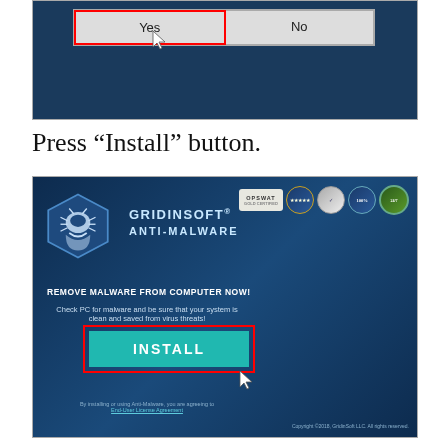[Figure (screenshot): Windows dialog box with Yes and No buttons. Yes button is highlighted with a red border and cursor pointing at it. Background is dark blue.]
Press “Install” button.
[Figure (screenshot): GridinSoft Anti-Malware installer screen with dark blue background, logo, badges, INSTALL button highlighted with red border and cursor pointing at it.]